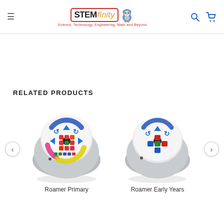[Figure (logo): STEMfinity logo with owl mascot, tagline: Science, Technology, Engineering, Math and Beyond]
RELATED PRODUCTS
[Figure (photo): Roamer Primary robot toy - grey dome-shaped robot with colorful circular button interface on top]
Roamer Primary
[Figure (photo): Roamer Early Years robot toy - grey dome-shaped robot with simpler button layout on top]
Roamer Early Years